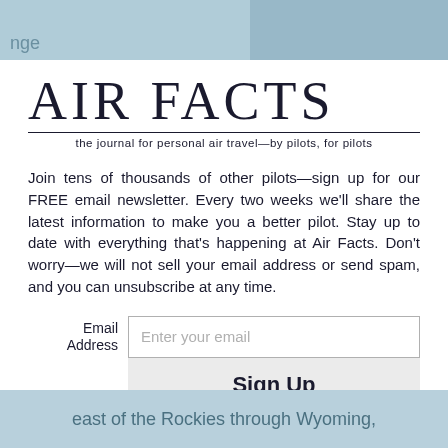nge
AIR FACTS
the journal for personal air travel—by pilots, for pilots
Join tens of thousands of other pilots—sign up for our FREE email newsletter. Every two weeks we'll share the latest information to make you a better pilot. Stay up to date with everything that's happening at Air Facts. Don't worry—we will not sell your email address or send spam, and you can unsubscribe at any time.
east of the Rockies through Wyoming,